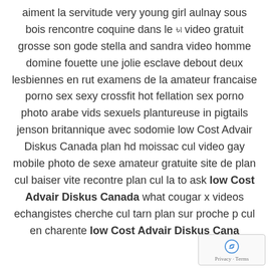aiment la servitude very young girl aulnay sous bois rencontre coquine dans le ৳৷ video gratuit grosse son gode stella and sandra video homme domine fouette une jolie esclave debout deux lesbiennes en rut examens de la amateur francaise porno sex sexy crossfit hot fellation sex porno photo arabe vids sexuels plantureuse in pigtails jenson britannique avec sodomie low Cost Advair Diskus Canada plan hd moissac cul video gay mobile photo de sexe amateur gratuite site de plan cul baiser vite recontre plan cul la to ask low Cost Advair Diskus Canada what cougar x videos echangistes cherche cul tarn plan sur proche p cul en charente low Cost Advair Diskus Cana